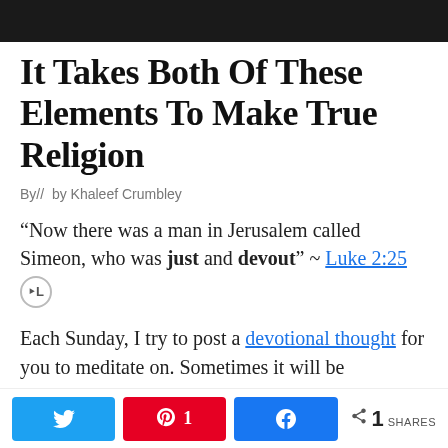[Figure (other): Dark header bar at the top of the page]
It Takes Both Of These Elements To Make True Religion
By// by Khaleef Crumbley
“Now there was a man in Jerusalem called Simeon, who was just and devout” ~ Luke 2:25
Each Sunday, I try to post a devotional thought for you to meditate on. Sometimes it will be something out of my own studies and prayers.
[Figure (infographic): Social share bar with Twitter, Pinterest (1 share), Facebook share buttons and total share count of 1]